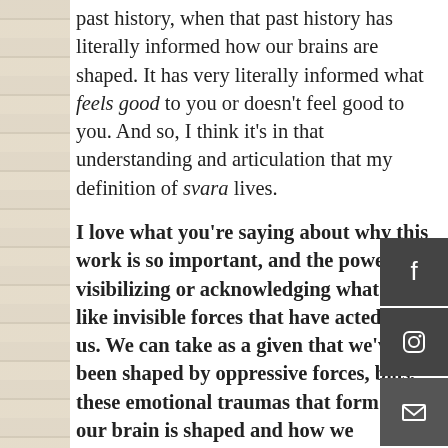past history, when that past history has literally informed how our brains are shaped. It has very literally informed what feels good to you or doesn't feel good to you. And so, I think it's in that understanding and articulation that my definition of svara lives.
I love what you're saying about why this work is so important, and the power of visibilizing or acknowledging what seem like invisible forces that have acted upon us. We can take as a given that we've been shaped by oppressive forces, bias, these emotional traumas that form how our brain is shaped and how we understand the world and what you're saying is, when we bring more attention to those invisible worlds that have shaped us we can retrain our guts to recover new ways of feeling good. Does that sound